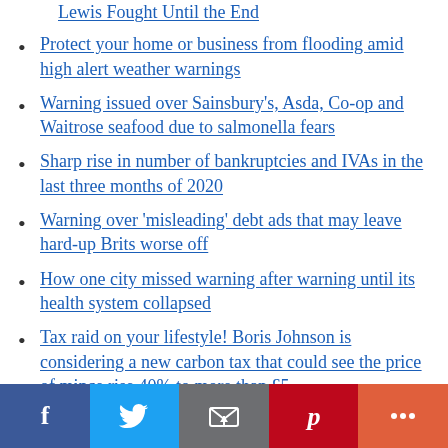Lewis Fought Until the End
Protect your home or business from flooding amid high alert weather warnings
Warning issued over Sainsbury's, Asda, Co-op and Waitrose seafood due to salmonella fears
Sharp rise in number of bankruptcies and IVAs in the last three months of 2020
Warning over 'misleading' debt ads that may leave hard-up Brits worse off
How one city missed warning after warning until its health system collapsed
Tax raid on your lifestyle! Boris Johnson is considering a new carbon tax that could see the price of mince rise 40% to more than £5
Social share bar: Facebook, Twitter, Email, Pinterest, More